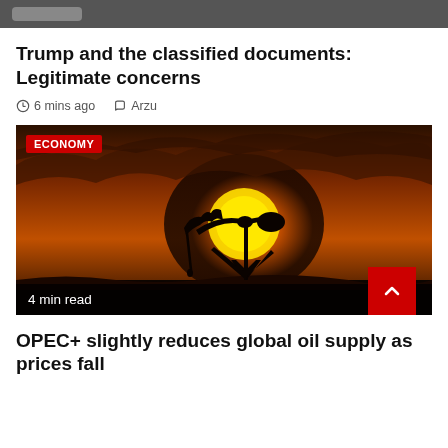Trump and the classified documents: Legitimate concerns
6 mins ago   Arzu
[Figure (photo): Oil pumpjack silhouette against a sunset sky with ECONOMY badge and 4 min read overlay]
OPEC+ slightly reduces global oil supply as prices fall